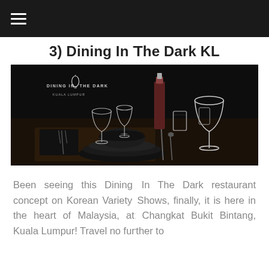☰
3) Dining In The Dark KL
[Figure (photo): A dark-themed restaurant table setting with black plates, bowls, and glassware including wine glasses and a wine bottle, with the 'Dining In The Dark Kuala Lumpur' logo visible in the upper left corner of the image.]
Been seeing this Dining In The Dark restaurant concept on Korean Variety Shows, finally, it is here in the heart of Malaysia, at Changkat Bukit Bintang, Kuala Lumpur! Travel no further to